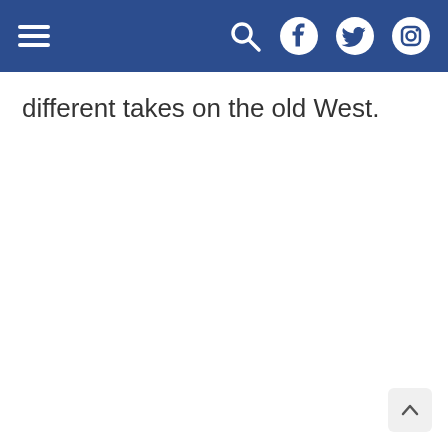Navigation bar with hamburger menu, search, Facebook, Twitter, and Instagram icons
different takes on the old West.